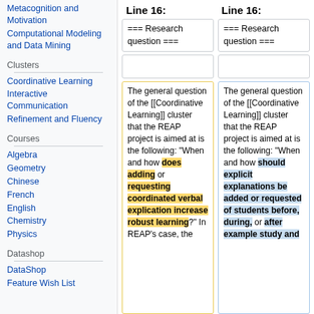Metacognition and Motivation
Computational Modeling and Data Mining
Clusters
Coordinative Learning
Interactive Communication
Refinement and Fluency
Courses
Algebra
Geometry
Chinese
French
English
Chemistry
Physics
Datashop
DataShop
Feature Wish List
Line 16:
Line 16:
=== Research question ===
=== Research question ===
The general question of the [[Coordinative Learning]] cluster that the REAP project is aimed at is the following: "When and how does adding or requesting coordinated verbal explication increase robust learning?"  In REAP's case, the
The general question of the [[Coordinative Learning]] cluster that the REAP project is aimed at is the following: "When and how should explicit explanations be added or requested of students before, during, or after example study and